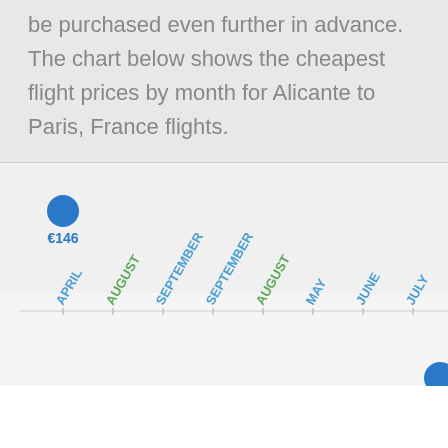be purchased even further in advance. The chart below shows the cheapest flight prices by month for Alicante to Paris, France flights.
[Figure (scatter-plot): Scatter plot showing cheapest flight prices by month. Visible data point: APRIL at €146. Another partial point visible at bottom right near JULY.]